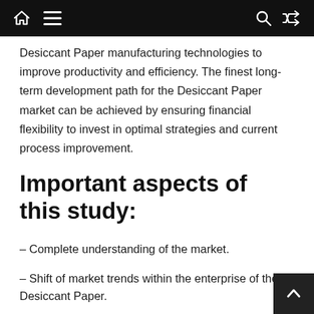Navigation bar with home, menu, search, and shuffle icons
Desiccant Paper manufacturing technologies to improve productivity and efficiency. The finest long-term development path for the Desiccant Paper market can be achieved by ensuring financial flexibility to invest in optimal strategies and current process improvement.
Important aspects of this study:
– Complete understanding of the market.
– Shift of market trends within the enterprise of the Desiccant Paper.
– Detailed market segmentation of Desiccant Paper consists of past, current, and expected forms, applications, geographic scope,